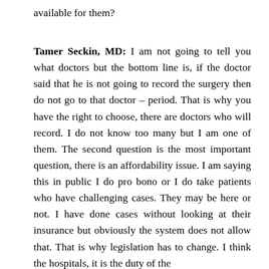available for them?
Tamer Seckin, MD: I am not going to tell you what doctors but the bottom line is, if the doctor said that he is not going to record the surgery then do not go to that doctor – period. That is why you have the right to choose, there are doctors who will record. I do not know too many but I am one of them. The second question is the most important question, there is an affordability issue. I am saying this in public I do pro bono or I do take patients who have challenging cases. They may be here or not. I have done cases without looking at their insurance but obviously the system does not allow that. That is why legislation has to change. I think the hospitals, it is the duty of the